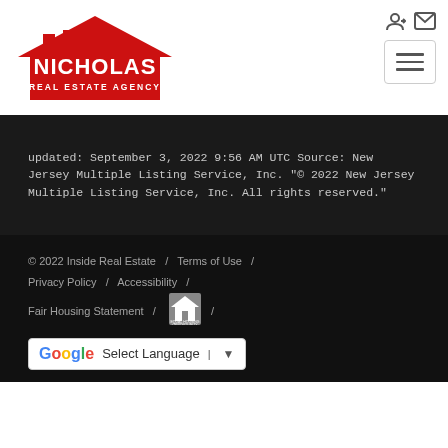[Figure (logo): Nicholas Real Estate Agency logo — red house silhouette with white text]
updated: September 3, 2022 9:56 AM UTC Source: New Jersey Multiple Listing Service, Inc. "© 2022 New Jersey Multiple Listing Service, Inc. All rights reserved."
© 2022 Inside Real Estate / Terms of Use / Privacy Policy / Accessibility / Fair Housing Statement / [Equal Housing Opportunity logo] / Select Language